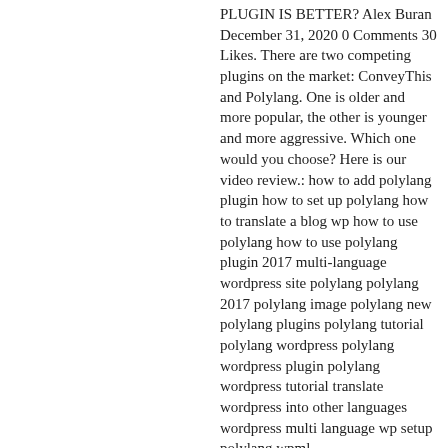PLUGIN IS BETTER? Alex Buran December 31, 2020 0 Comments 30 Likes. There are two competing plugins on the market: ConveyThis and Polylang. One is older and more popular, the other is younger and more aggressive. Which one would you choose? Here is our video review.: how to add polylang plugin how to set up polylang how to translate a blog wp how to use polylang how to use polylang plugin 2017 multi-language wordpress site polylang polylang 2017 polylang image polylang new polylang plugins polylang tutorial polylang wordpress polylang wordpress plugin polylang wordpress tutorial translate wordpress into other languages wordpress multi language wp setup polylang wpml.
Polylang - WordPress plugin WordPress.org